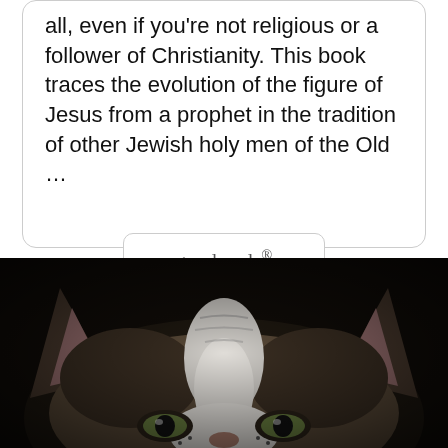This is a brilliant book that I recommend to you all, even if you're not religious or a follower of Christianity. This book traces the evolution of the figure of Jesus from a prophet in the tradition of other Jewish holy men of the Old ...
[Figure (logo): Goodreads button/logo with rounded rectangle border]
[Figure (photo): Close-up photograph of a cat's face looking upward, showing ears, forehead, and eyes partially visible; dark background]